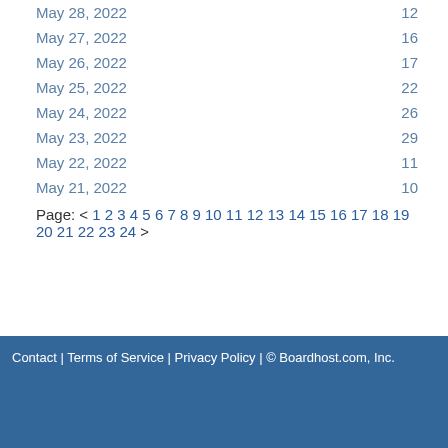May 28, 2022   12
May 27, 2022   16
May 26, 2022   17
May 25, 2022   22
May 24, 2022   26
May 23, 2022   29
May 22, 2022   11
May 21, 2022   10
Page: < 1 2 3 4 5 6 7 8 9 10 11 12 13 14 15 16 17 18 19 20 21 22 23 24 >
Contact | Terms of Service | Privacy Policy | © Boardhost.com, Inc.